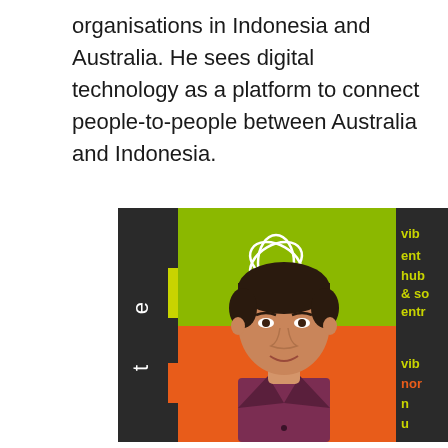organisations in Indonesia and Australia. He sees digital technology as a platform to connect people-to-people between Australia and Indonesia.
[Figure (photo): Headshot of a young man in a purple/maroon button-up shirt, smiling, standing in front of a colorful backdrop with text fragments including 'ent', 'hub', '& so', 'entr', 'vib', 'nor', 'n', 'u' in yellow/green on dark panels, and orange/green colored sections resembling an entrepreneurship hub signage.]